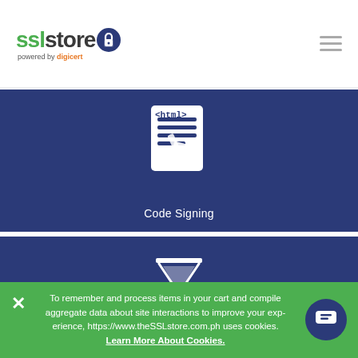The SSL Store - powered by digicert
[Figure (illustration): Dark blue menu card with HTML code signing icon (document with pen writing on it) and label 'Code Signing']
Code Signing
[Figure (illustration): Dark blue menu card with hourglass containing binary digits icon and label 'Issuance Process']
Issuance Process
[Figure (illustration): Dark blue menu card with partial info icon visible at bottom]
To remember and process items in your cart and compile aggregate data about site interactions to improve your experience, https://www.theSSLstore.com.ph uses cookies. Learn More About Cookies.